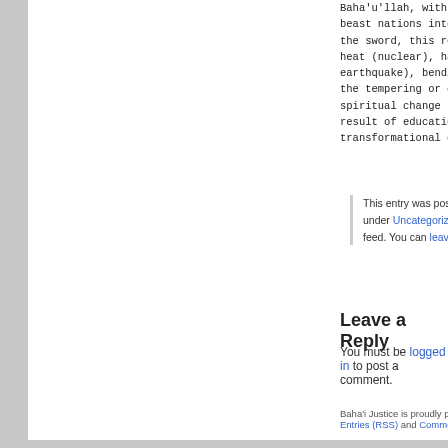Baha'u'llah, with the transformation of the four beast nations into the four living creatures. Like the sword, this requires the application of fervent heat (nuclear), hammering (meteor impact and earthquake), bending (earth's shifting crust), and the tempering or cooling process which would be the spiritual change the human race experiences as a result of education before, during and after these transformational catastrophes.
This entry was posted on Wednesday, January 16th, 2... under Uncategorized. You can follow any responses to th... feed. You can leave a response, or trackback from your o...
Leave a Reply
You must be logged in to post a comment.
Baha'i Justice is proudly powered by W... Entries (RSS) and Comments (RS...